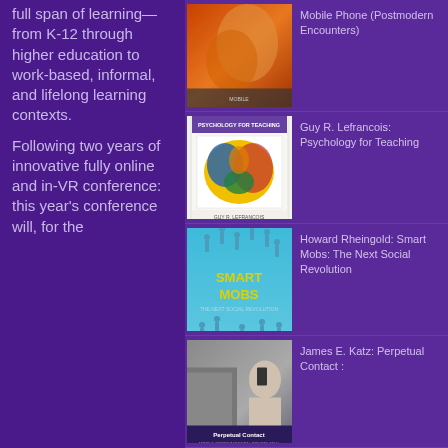full span of learning—from K-12 through higher education to work-based, informal, and lifelong learning contexts.
Following two years of innovative fully online and in-VR conference: this year's conference will, for the
[Figure (photo): Book cover - orange/red toned book cover (Mobile Phone, Postmodern Encounters)]
Mobile Phone (Postmodern Encounters)
[Figure (photo): Book cover - Psychology for Teaching by Guy R. Lefrancois, white cover with colorful artwork]
Guy R. Lefrancois: Psychology for Teaching
[Figure (photo): Book cover - Smart Mobs: The Next Social Revolution by Howard Rheingold, blue cover]
Howard Rheingold: Smart Mobs: The Next Social Revolution
[Figure (photo): Book cover - Perpetual Contact by James E. Katz, photo of person on phone]
James E. Katz: Perpetual Contact :